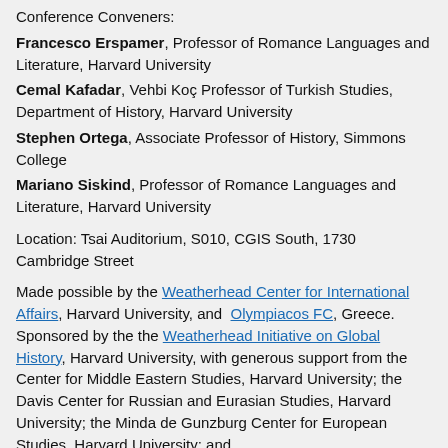Conference Conveners:
Francesco Erspamer, Professor of Romance Languages and Literature, Harvard University
Cemal Kafadar, Vehbi Koç Professor of Turkish Studies, Department of History, Harvard University
Stephen Ortega, Associate Professor of History, Simmons College
Mariano Siskind, Professor of Romance Languages and Literature, Harvard University
Location: Tsai Auditorium, S010, CGIS South, 1730 Cambridge Street
Made possible by the Weatherhead Center for International Affairs, Harvard University, and Olympiacos FC, Greece. Sponsored by the the Weatherhead Initiative on Global History, Harvard University, with generous support from the Center for Middle Eastern Studies, Harvard University; the Davis Center for Russian and Eurasian Studies, Harvard University; the Minda de Gunzburg Center for European Studies, Harvard University; and